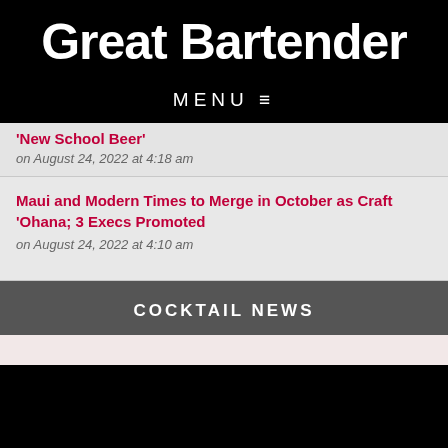Great Bartender
MENU ≡
'New School Beer' on August 24, 2022 at 4:18 am
Maui and Modern Times to Merge in October as Craft 'Ohana; 3 Execs Promoted on August 24, 2022 at 4:10 am
COCKTAIL NEWS